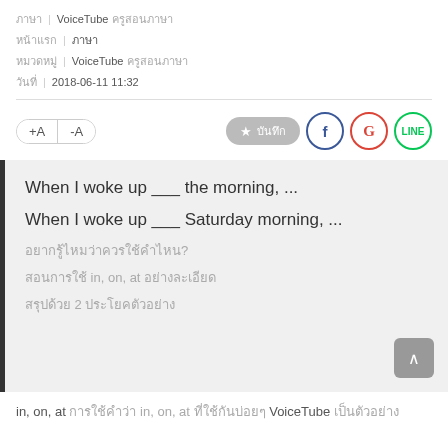ภาษา | VoiceTube ครูสอนภาษา
หน้าแรก | ภาษา
หมวดหมู่ | VoiceTube ครูสอนภาษา
วันที่ | 2018-06-11 11:32
[Figure (screenshot): Toolbar with font size buttons +A -A, a favorite button with star icon and Thai text, and social share buttons for Facebook, Google, and LINE]
When I woke up ___ the morning, ...
When I woke up ___ Saturday morning, ...
(Thai text lines)
สอนการใช้ in, on, at อย่างละเอียด
สรุปด้วย 2 ประโยคตัวอย่าง
in, on, at การใช้ in, on, at ที่ใช้กันบ่อยๆ โดยใช้ VoiceTube เป็นตัวอย่าง